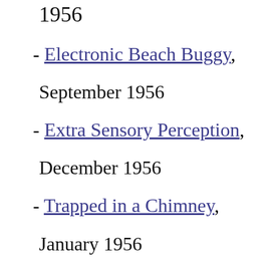1956 (truncated top)
- Electronic Beach Buggy, September 1956
- "BB... (truncated)
- Ultra... (truncated)
- Extra Sensory Perception, December 1956
July 19... (truncated)
- The P... (truncated)
- Trapped in a Chimney, January 1956
1962
- Ham... (truncated)
- Command Performance, November 1958
- El To... (truncated)
April 1... (truncated)